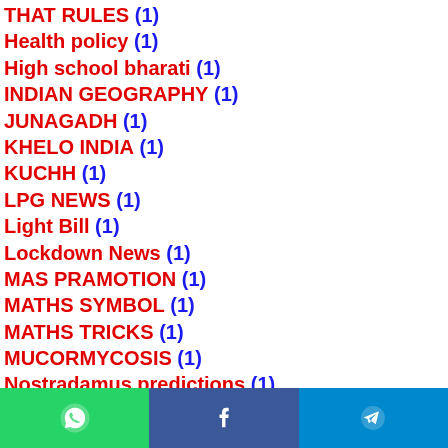THAT RULES (1)
Health policy (1)
High school bharati (1)
INDIAN GEOGRAPHY (1)
JUNAGADH (1)
KHELO INDIA (1)
KUCHH (1)
LPG NEWS (1)
Light Bill (1)
Lockdown News (1)
MAS PRAMOTION (1)
MATHS SYMBOL (1)
MATHS TRICKS (1)
MUCORMYCOSIS (1)
Nostradamus predictions (1)
OMR scan (1)
PAGHDI (1)
WhatsApp | Facebook | Telegram